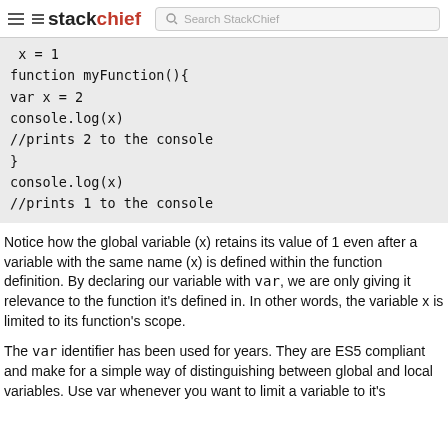stackchief | Search StackChief
x = 1
function myFunction(){
var x = 2
console.log(x)
//prints 2 to the console
}
console.log(x)
//prints 1 to the console
Notice how the global variable (x) retains its value of 1 even after a variable with the same name (x) is defined within the function definition. By declaring our variable with var, we are only giving it relevance to the function it's defined in. In other words, the variable x is limited to its function's scope.
The var identifier has been used for years. They are ES5 compliant and make for a simple way of distinguishing between global and local variables. Use var whenever you want to limit a variable to it's